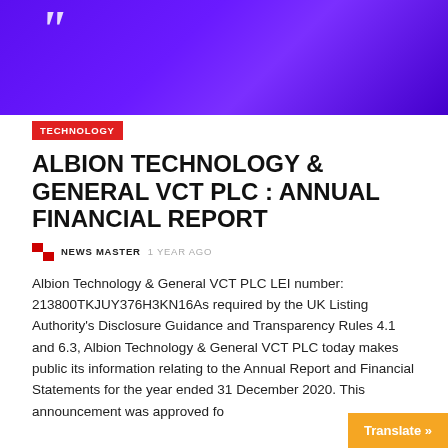[Figure (illustration): Purple gradient banner header with a large white italic quotation mark in the upper left]
TECHNOLOGY
ALBION TECHNOLOGY & GENERAL VCT PLC : ANNUAL FINANCIAL REPORT
NEWS MASTER 1 YEAR AGO
Albion Technology & General VCT PLC LEI number: 213800TKJUY376H3KN16As required by the UK Listing Authority's Disclosure Guidance and Transparency Rules 4.1 and 6.3, Albion Technology & General VCT PLC today makes public its information relating to the Annual Report and Financial Statements for the year ended 31 December 2020. This announcement was approved fo
Translate »